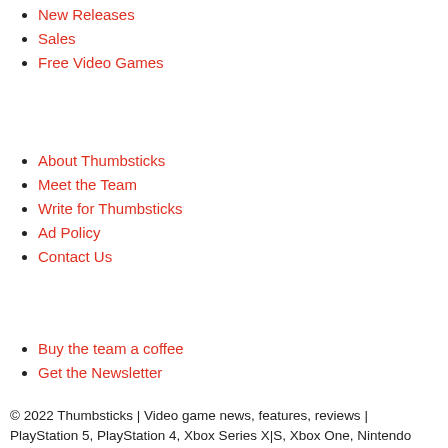New Releases
Sales
Free Video Games
About Thumbsticks
Meet the Team
Write for Thumbsticks
Ad Policy
Contact Us
Buy the team a coffee
Get the Newsletter
© 2022 Thumbsticks | Video game news, features, reviews | PlayStation 5, PlayStation 4, Xbox Series X|S, Xbox One, Nintendo Switch, and PC.